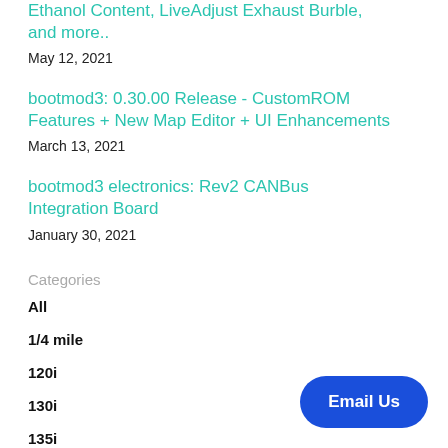Ethanol Content, LiveAdjust Exhaust Burble, and more..
May 12, 2021
bootmod3: 0.30.00 Release - CustomROM Features + New Map Editor + UI Enhancements
March 13, 2021
bootmod3 electronics: Rev2 CANBus Integration Board
January 30, 2021
Categories
All
1/4 mile
120i
130i
135i
Email Us